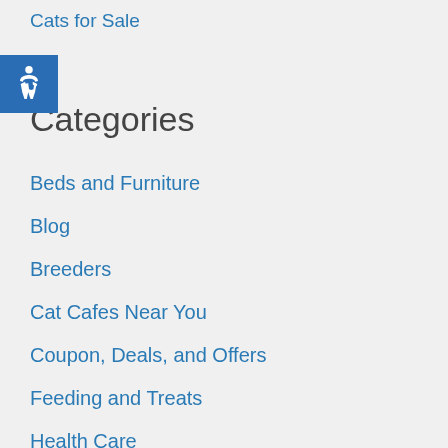Cats for Sale
Categories
Beds and Furniture
Blog
Breeders
Cat Cafes Near You
Coupon, Deals, and Offers
Feeding and Treats
Health Care
Litter and Carriers